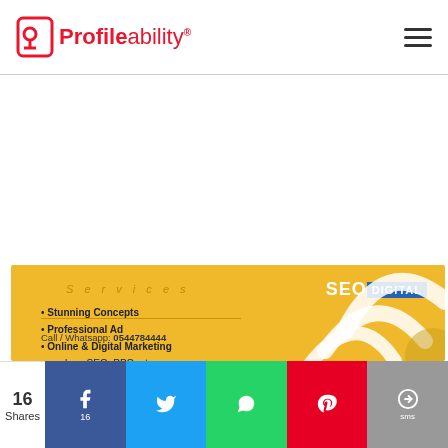Profileability
[Figure (infographic): Yellow business card for SEO Digital agency showing services list including Stunning Concepts, Professional Ad, Online & Digital Marketing such as SEO PPC etc., Wed Design, Dynamic Creatives (Graphics, Video & Motion Graphics). Contact: Call / Whatsapp: 0544784444]
16 Shares | Facebook 16 | Twitter | WhatsApp | Pinterest | SMS